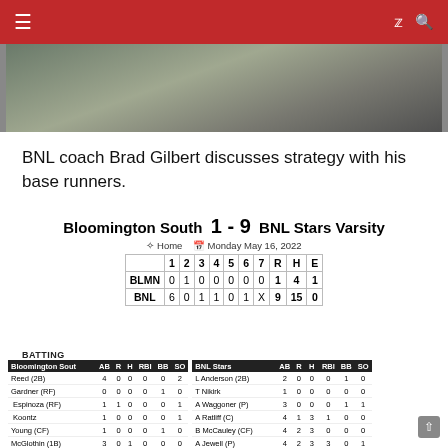Navigation bar with hamburger menu, facebook icon, search icon
[Figure (photo): Photo of BNL coach Brad Gilbert discussing strategy with base runners]
BNL coach Brad Gilbert discusses strategy with his base runners.
|  | 1 | 2 | 3 | 4 | 5 | 6 | 7 | R | H | E |
| --- | --- | --- | --- | --- | --- | --- | --- | --- | --- | --- |
| BLMN | 0 | 1 | 0 | 0 | 0 | 0 | 0 | 1 | 4 | 1 |
| BNL | 6 | 0 | 1 | 1 | 0 | 1 | X | 9 | 15 | 0 |
BATTING
| Bloomington South | AB | R | H | RBI | BB | SO |
| --- | --- | --- | --- | --- | --- | --- |
| Reed (2B) | 4 | 0 | 0 | 0 | 0 | 2 |
| Gardner (RF) | 0 | 0 | 0 | 0 | 1 | 0 |
| Espinoza (RF) | 1 | 1 | 0 | 0 | 0 | 1 |
| Koontz | 1 | 0 | 0 | 0 | 0 | 1 |
| Young (CF) | 1 | 0 | 0 | 0 | 1 | 0 |
| McGlothin (1B) | 3 | 0 | 1 | 0 | 0 | 0 |
| Cockerill (P) | 2 | 0 | 0 | 0 | 0 | 1 |
| Jacobs (P) | 3 | 0 | 1 | 0 | 0 | 0 |
| Harmon (3B) | 2 | 0 | 0 | 0 | 0 | 0 |
| Hubbard (SS) | 3 | 0 | 0 | 0 | 0 | 1 |
| Burton (LF) | 3 | 0 | 2 | 1 | 0 | 1 |
| Totals | 23 | 1 | 4 | 1 | 2 | 7 |
| BNL Stars | AB | R | H | RBI | BB | SO |
| --- | --- | --- | --- | --- | --- | --- |
| L Anderson (2B) | 2 | 0 | 0 | 0 | 1 | 0 |
| T Nikirk | 1 | 0 | 0 | 0 | 0 | 0 |
| A Waggoner (P) | 3 | 0 | 0 | 0 | 1 | 1 |
| A Ratliff (C) | 4 | 1 | 3 | 1 | 0 | 0 |
| B McCauley (CF) | 4 | 2 | 3 | 0 | 0 | 0 |
| A Jewell (P) | 4 | 2 | 3 | 3 | 0 | 1 |
| C Alvey (RF) | 4 | 1 | 2 | 0 | 0 | 1 |
| M Bennett (1B) | 4 | 1 | 2 | 1 | 0 | 0 |
| H Davis | 0 | 0 | 0 | 0 | 0 | 0 |
| M Turner (LF) | 3 | 1 | 0 | 0 | 0 | 1 |
| A Williams | 0 | 0 | 0 | 0 | 0 | 0 |
| C Kern (SS) | 4 | 1 | 2 | 2 | 0 | 0 |
| CR: H Canada | 0 | 0 | 0 | 0 | 0 | 0 |
| CR: B Warren | 0 | 0 | 0 | 0 | 0 | 0 |
| Totals | 33 | 9 | 15 | 7 | 2 | 4 |